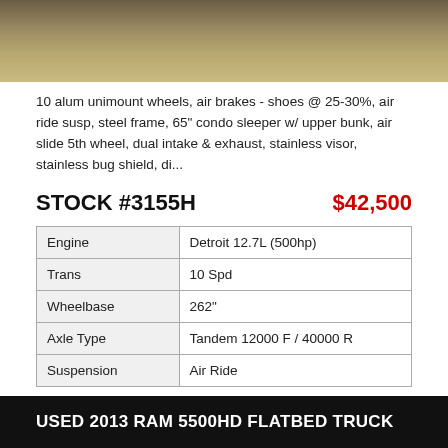[Figure (photo): Partial photo of a truck on grassy/dirt ground, cropped at top showing only bottom portion of the vehicle]
10 alum unimount wheels, air brakes - shoes @ 25-30%, air ride susp, steel frame, 65" condo sleeper w/ upper bunk, air slide 5th wheel, dual intake & exhaust, stainless visor, stainless bug shield, di...
STOCK #3155H   $42,500
| Engine | Detroit 12.7L (500hp) |
| --- | --- |
| Trans | 10 Spd |
| Wheelbase | 262" |
| Axle Type | Tandem 12000 F / 40000 R |
| Suspension | Air Ride |
USED 2013 RAM 5500HD FLATBED TRUCK